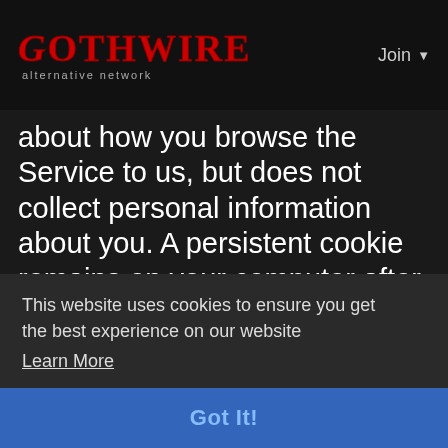GOTHWIRE alternative network | Join
about how you browse the Service to us, but does not collect personal information about you. A persistent cookie remains on your computer after you close your browser so that it can be used by your browser on subsequent visits to the Service. Persistent cookies can be removed by following your web browser's directions. A session cookie is temporary and disappears after you close your browser. You can reset your web browser to refuse all cookies or to indicate when a cookie is being sent. However, some features of the Service may not function properly if
This website uses cookies to ensure you get the best experience on our website
Learn More
Got It!